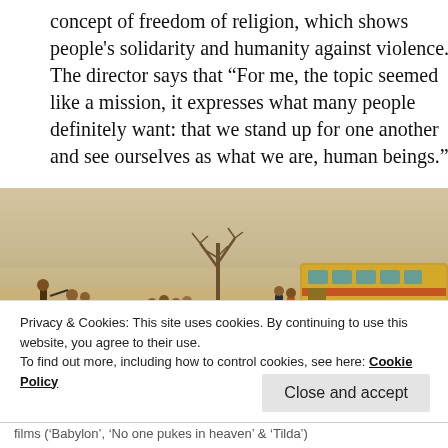concept of freedom of religion, which shows people's solidarity and humanity against violence. The director says that “For me, the topic seemed like a mission, it expresses what many people definitely want: that we stand up for one another and see ourselves as what we are, human beings.”
[Figure (photo): A desert scene with armed figures, a group of people crouching on the ground, and a colorful bus to the right, with a bare tree in the dusty background.]
Privacy & Cookies: This site uses cookies. By continuing to use this website, you agree to their use.
To find out more, including how to control cookies, see here: Cookie Policy
Close and accept
films (‘Babylon’, ‘No one pukes in heaven’ & ‘Tilda’)